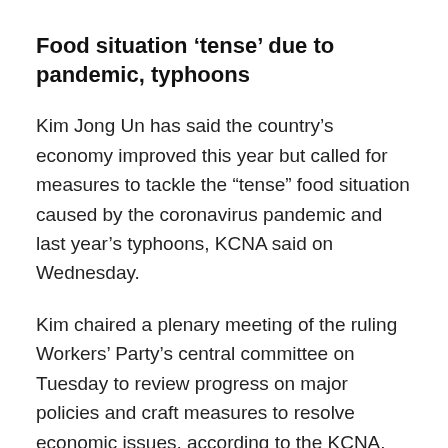Food situation ‘tense’ due to pandemic, typhoons
Kim Jong Un has said the country’s economy improved this year but called for measures to tackle the “tense” food situation caused by the coronavirus pandemic and last year’s typhoons, KCNA said on Wednesday.
Kim chaired a plenary meeting of the ruling Workers’ Party’s central committee on Tuesday to review progress on major policies and craft measures to resolve economic issues, according to the KCNA.
The committee set goals and tasks to achieve its new five-year economic plan outlined at its previous session in February, including